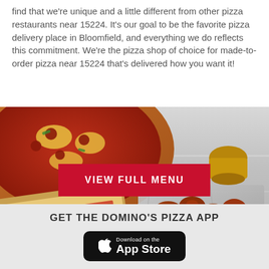find that we're unique and a little different from other pizza restaurants near 15224. It's our goal to be the favorite pizza delivery place in Bloomfield, and everything we do reflects this commitment. We're the pizza shop of choice for made-to-order pizza near 15224 that's delivered how you want it!
[Figure (photo): Food photo showing pizza, a sandwich/stromboli, chicken wings on foil, and loaded potato dish on a stainless steel table background, with a red 'VIEW FULL MENU' button overlay]
VIEW FULL MENU
GET THE DOMINO'S PIZZA APP
[Figure (logo): Download on the App Store button (black rounded rectangle with Apple logo)]